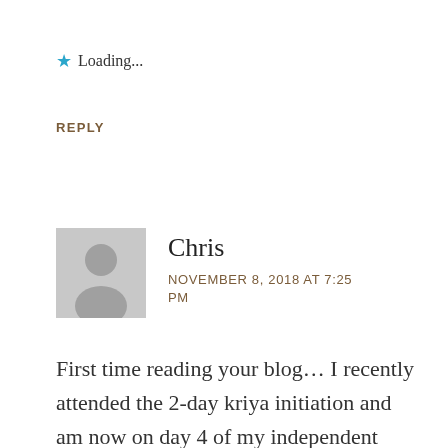★ Loading...
REPLY
Chris
NOVEMBER 8, 2018 AT 7:25 PM
First time reading your blog… I recently attended the 2-day kriya initiation and am now on day 4 of my independent practice. I too have noticed some of the